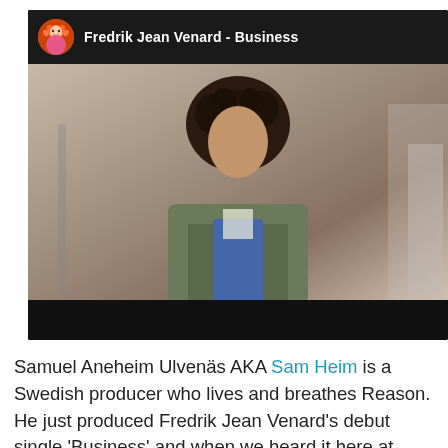[Figure (screenshot): YouTube video embed showing 'Fredrik Jean Venard - Business' with channel avatar, video thumbnail of a person with curly hair walking on a street, red play button overlay, and black bottom bar]
Samuel Aneheim Ulvenäs AKA Sam Heim is a Swedish producer who lives and breathes Reason. He just produced Fredrik Jean Venard's debut single 'Business' and when we heard it here at PropellerHQ, we absolutely loved it. Sam is also a really nice guy and when we met him at Dreamhill